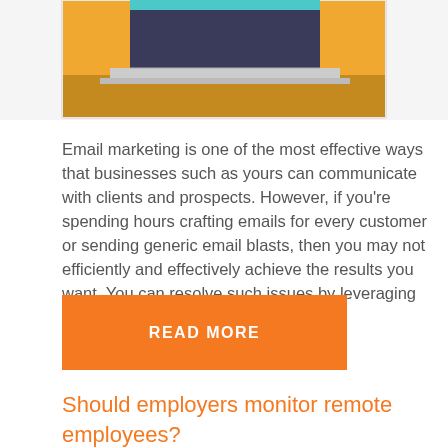[Figure (illustration): Flat design illustration of a laptop on an orange and dark background, partially cropped at top of page]
Email marketing is one of the most effective ways that businesses such as yours can communicate with clients and prospects. However, if you’re spending hours crafting emails for every customer or sending generic email blasts, then you may not efficiently and effectively achieve the results you want. You can resolve such issues by leveraging email [...]
READ MORE
Should employers monitor remote employees?